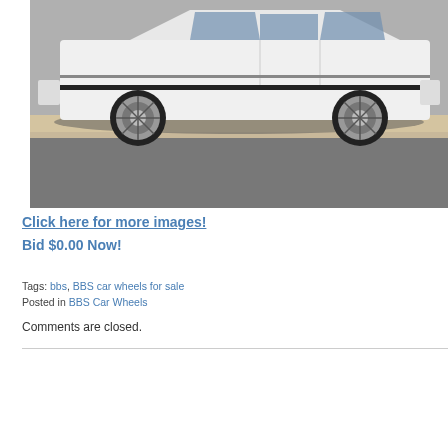[Figure (photo): Side profile of a white BMW sedan parked in a parking lot, with another dark vehicle visible in the background. The car has BBS-style alloy wheels.]
Click here for more images!
Bid $0.00 Now!
Tags: bbs, BBS car wheels for sale
Posted in BBS Car Wheels
Comments are closed.